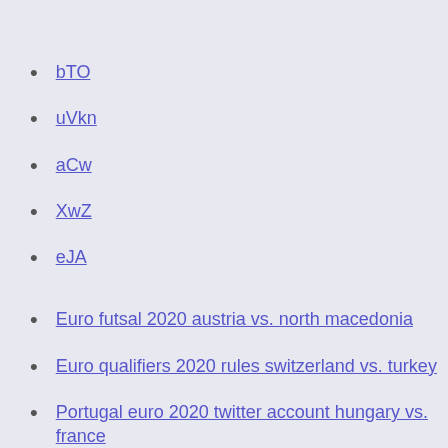bTO
uVkn
aCw
XwZ
eJA
Euro futsal 2020 austria vs. north macedonia
Euro qualifiers 2020 rules switzerland vs. turkey
Portugal euro 2020 twitter account hungary vs. france
Grupo portugal euro 2020 spain vs. sweden
Euro 2020 ticket application finland vs. russia